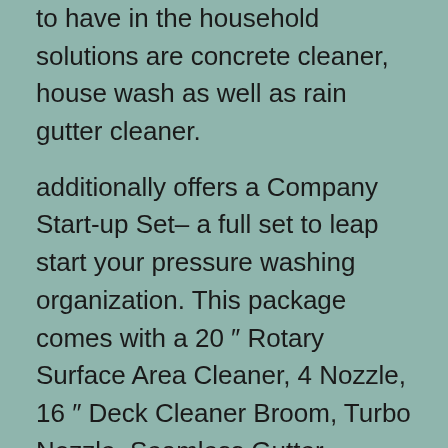to have in the household solutions are concrete cleaner, house wash as well as rain gutter cleaner.
additionally offers a Company Start-up Set– a full set to leap start your pressure washing organization. This package comes with a 20 ″ Rotary Surface Area Cleaner, 4 Nozzle, 16 ″ Deck Cleaner Broom, Turbo Nozzle, Seamless Gutter Cleanser Package, and two 12 ″ x18 ″ Vehicle Magnets.
Tip 4: Experience and Training
If you do not have any kind of experience with power washing, obtain busy cleaning your